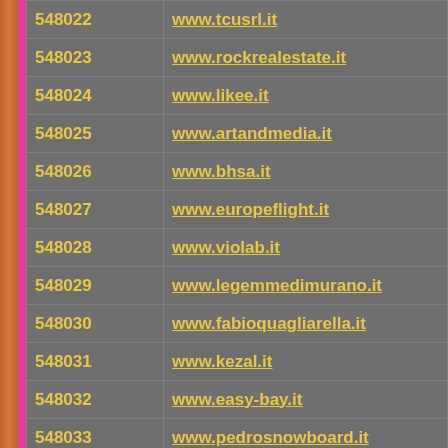| ID | URL |
| --- | --- |
| 548022 | www.tcusrl.it |
| 548023 | www.rockrealestate.it |
| 548024 | www.likee.it |
| 548025 | www.artandmedia.it |
| 548026 | www.bhsa.it |
| 548027 | www.europeflight.it |
| 548028 | www.violab.it |
| 548029 | www.legemmedimurano.it |
| 548030 | www.fabioquagliarella.it |
| 548031 | www.kezal.it |
| 548032 | www.easy-bay.it |
| 548033 | www.pedrosnowboard.it |
| 548034 | www.stampipressofusione.it |
| 548035 | www.basiachille.it |
| 548036 | www.scenas.it |
| 548037 | www.tennius.it |